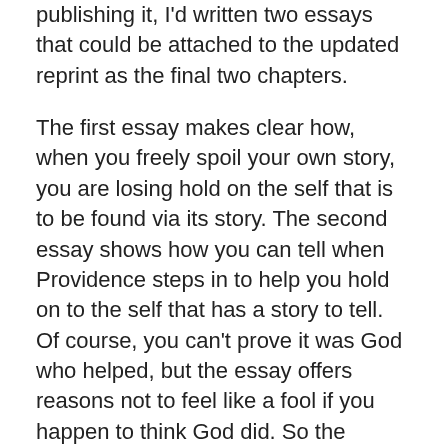publishing it, I'd written two essays that could be attached to the updated reprint as the final two chapters.
The first essay makes clear how, when you freely spoil your own story, you are losing hold on the self that is to be found via its story. The second essay shows how you can tell when Providence steps in to help you hold on to the self that has a story to tell. Of course, you can't prove it was God who helped, but the essay offers reasons not to feel like a fool if you happen to think God did. So the additional chapters would make the book's point much clearer.
So where's the self? It's found in the acts of living and defending one's story. Is the self at risk? Yeah it is. Evil is absolutely out to get it. Just as the detection of a gravitational field counts as evidence of a planet in the vicinity, so the trajectory of evil is evidence that the self is